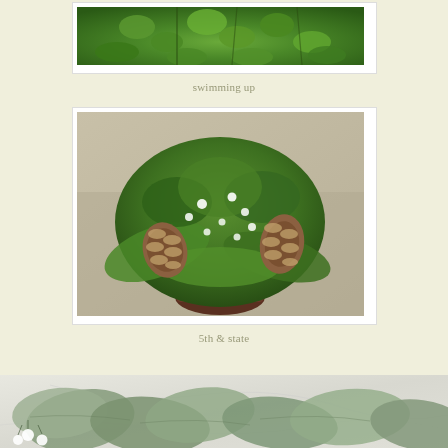[Figure (photo): Close-up photo of green leaves on branches against a blurred background]
swimming up
[Figure (photo): Holiday/winter floral arrangement in a pot with cedar branches, pine cones, and white berries]
5th & state
[Figure (photo): Sage green foliage with soft fuzzy leaves and small white berries on a marble surface]